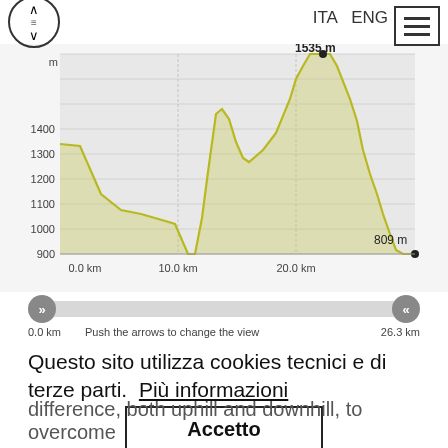[Figure (line-chart): Elevation profile chart showing terrain from 0.0 km to approx 26.3 km. Y-axis from 900m to 1535m. Peak at 1535m near 20km, start around 1180m, end at 809m.]
Questo sito utilizza cookies tecnici e di terze parti.  Più informazioni
Accetto
difference, both uphill and downhill, to overcome